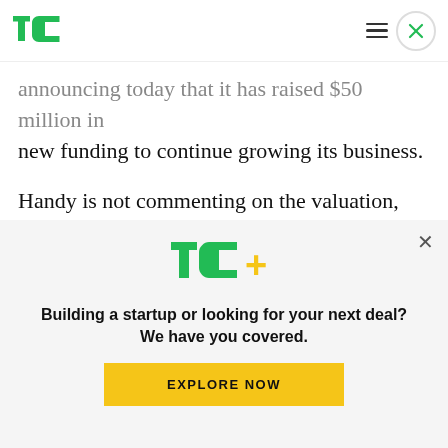TechCrunch header with TC logo, hamburger menu, and close button
announcing today that it has raised $50 million in new funding to continue growing its business.
Handy is not commenting on the valuation, but it is reportedly in the $500 million range.
The Series C round was led by new investor Fidelity Management, with participation also from existing investors TPG Growth, General Catalyst
[Figure (logo): TC+ logo (TechCrunch Plus) in green and yellow]
Building a startup or looking for your next deal? We have you covered.
EXPLORE NOW